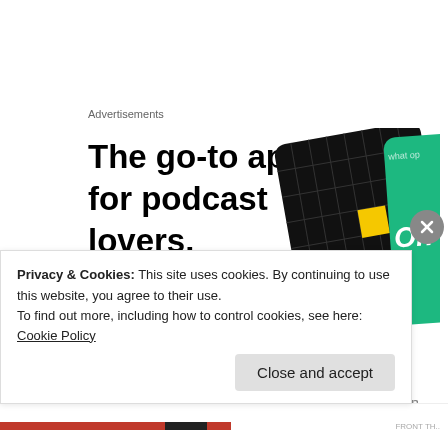Advertisements
[Figure (illustration): Advertisement for a podcast app. Bold headline reads 'The go-to app for podcast lovers.' with a red 'Download now' link and illustrated app cards/phone screens on the right.]
Authorities, who were forced to wear masks to combat the overwhelming odor of cat urine, also found more than 30
Privacy & Cookies: This site uses cookies. By continuing to use this website, you agree to their use. To find out more, including how to control cookies, see here: Cookie Policy
Close and accept